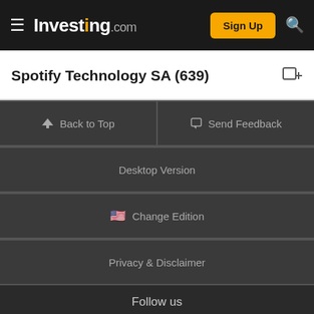Investing.com — Sign Up
Spotify Technology SA (639)
Back to Top
Send Feedback
Desktop Version
Change Edition
Privacy & Disclaimer
Follow us
[Figure (other): Facebook and Twitter social media icons in dark circular buttons]